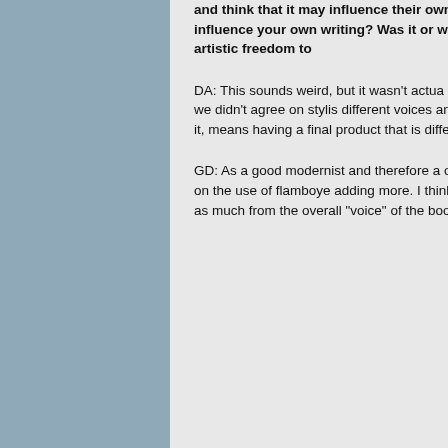and think that it may influence their own perspective, how did you approach this (if at all) influence your own writing? Was it collaborative or was there general agreement on where to go, or agreement to allow artistic freedom to each writer?
DA: This sounds weird, but it wasn't actually... contributed ideas on the main plot and there were some things that we didn't agree on stylistically, different voices and attitudes toward things... sound exactly the way I'd have written it, but... means having a final product that is different... alone. Otherwise, what's the point?
GD: As a good modernist and therefore a... out, thinking of it as overwriting, but since... largely DEPENDS on the use of flamboyant... adding more. I think it helped smooth out... final smoothing and consolidating draft, as... much from the overall "voice" of the book... collaborations--of which I've done several...